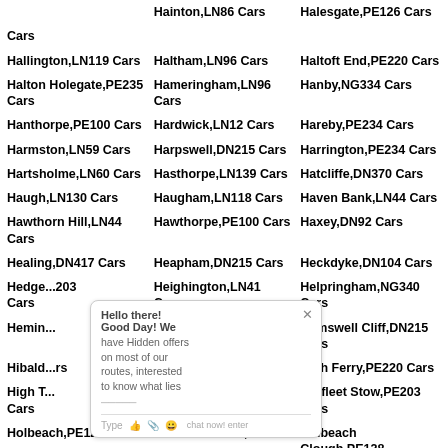Hainton,LN86 Cars
Halesgate,PE126 Cars
Cars
Hallington,LN119 Cars
Haltham,LN96 Cars
Haltoft End,PE220 Cars
Halton Holegate,PE235 Cars
Hameringham,LN96 Cars
Hanby,NG334 Cars
Hanthorpe,PE100 Cars
Hardwick,LN12 Cars
Hareby,PE234 Cars
Harmston,LN59 Cars
Harpswell,DN215 Cars
Harrington,PE234 Cars
Hartsholme,LN60 Cars
Hasthorpe,LN139 Cars
Hatcliffe,DN370 Cars
Haugh,LN130 Cars
Haugham,LN118 Cars
Haven Bank,LN44 Cars
Hawthorn Hill,LN44 Cars
Hawthorpe,PE100 Cars
Haxey,DN92 Cars
Healing,DN417 Cars
Heapham,DN215 Cars
Heckdyke,DN104 Cars
Hedge...303 Cars
Heighington,LN41 Cars
Helpringham,NG340 Cars
Hemin...
Hemswell,DN215 Cars
Hemswell Cliff,DN215 Cars
Hibald...rs
High Barn,PE234 Cars
High Ferry,PE220 Cars
High T... Cars
Hilldyke,PE220 Cars
Hoffleet Stow,PE203 Cars
Holbeach,PE127 Cars
Holbeach Bank,PE128
Holbeach Clough,PE128